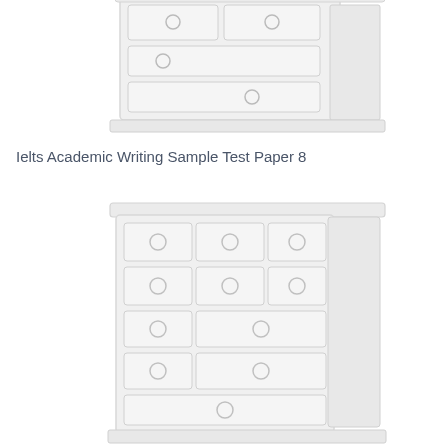[Figure (illustration): Partial view of a white chest of drawers/nightstand with circular drawer pulls, cropped at top of page]
Ielts Academic Writing Sample Test Paper 8
[Figure (illustration): Full view of a white chest of drawers/nightstand with multiple drawers and circular drawer pulls]